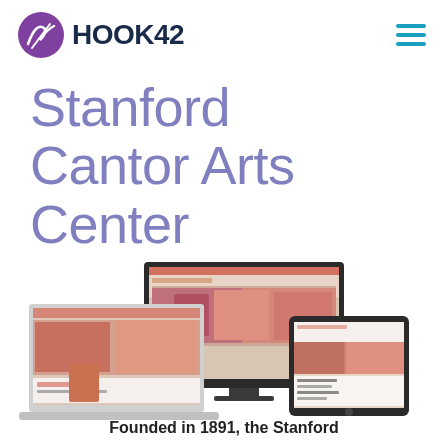HOOK42
Stanford Cantor Arts Center
[Figure (screenshot): Multiple device mockups (desktop monitor, laptop, tablet) displaying the Stanford Cantor Arts Center website with colorful artwork imagery]
Founded in 1891, the Stanford